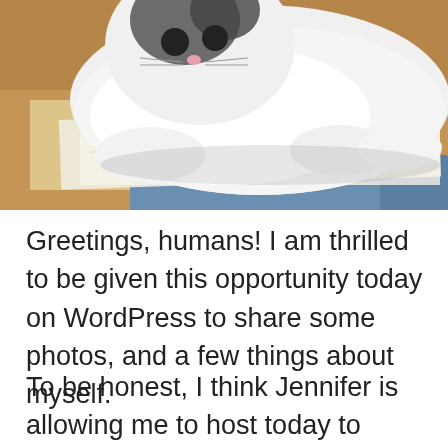[Figure (photo): A white cat with dark markings on its head is lying on papers on a wooden table. There is a blue cloth visible in the foreground.]
Greetings, humans!  I am thrilled to be given this opportunity today on WordPress to share some photos, and a few things about myself.
To be honest,  I think Jennifer is allowing me to host today to make up for shrieking at me last week when I brought a mouse in the